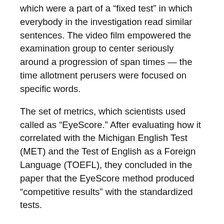which were a part of a "fixed test" in which everybody in the investigation read similar sentences. The video film empowered the examination group to center seriously around a progression of span times — the time allotment perusers were focused on specific words.
The set of metrics, which scientists used called as "EyeScore." After evaluating how it correlated with the Michigan English Test (MET) and the Test of English as a Foreign Language (TOEFL), they concluded in the paper that the EyeScore method produced "competitive results" with the standardized tests.
Erik Reichle, head of the Department of Psychology at Macquarie University in Sydney, Australia said, "The method [used in the study] is very innovative and — in my opinion — holds much promise for using eye-tracking technology to its full potential. It will have a big impact in a number of different